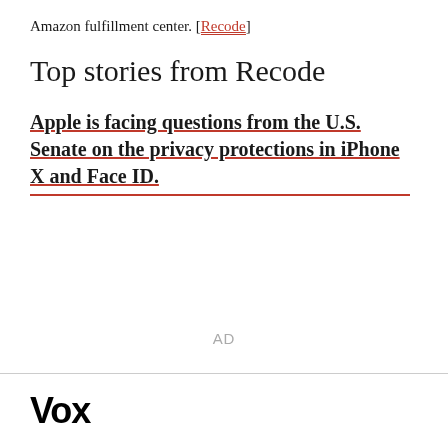Amazon fulfillment center. [Recode]
Top stories from Recode
Apple is facing questions from the U.S. Senate on the privacy protections in iPhone X and Face ID.
AD
Vox